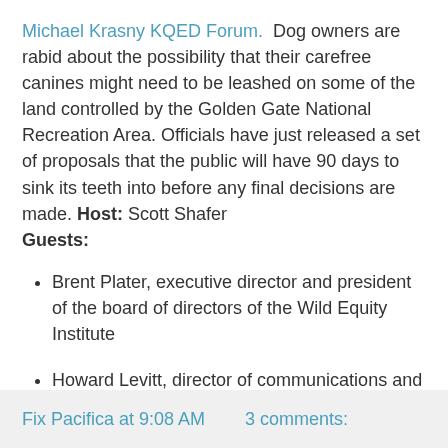Michael Krasny KQED Forum.  Dog owners are rabid about the possibility that their carefree canines might need to be leashed on some of the land controlled by the Golden Gate National Recreation Area. Officials have just released a set of proposals that the public will have 90 days to sink its teeth into before any final decisions are made. Host: Scott Shafer Guests:
Brent Plater, executive director and president of the board of directors of the Wild Equity Institute
Howard Levitt, director of communications and partnerships for the Golden Gate National Recreation Area
Martha Walters, chairperson of the Chrissy Field Dog Group
Posted by Beverly Kingsbury
Fix Pacifica at 9:08 AM    3 comments: